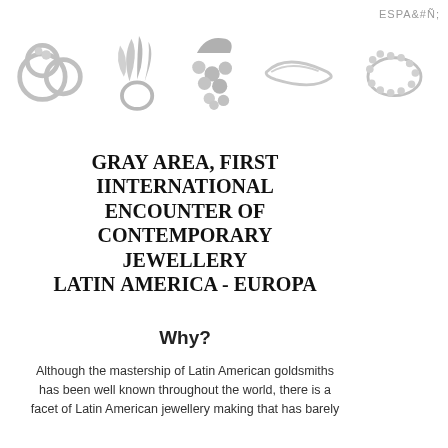ESPAÑ
[Figure (photo): Row of five contemporary jewellery pieces (rings and brooches) in grayscale against white background]
Gray Area, First Iinternational Encounter Of Contemporary Jewellery Latin America - Europa
Why?
Although the mastership of Latin American goldsmiths has been well known throughout the world, there is a facet of Latin American jewellery making that has barely...